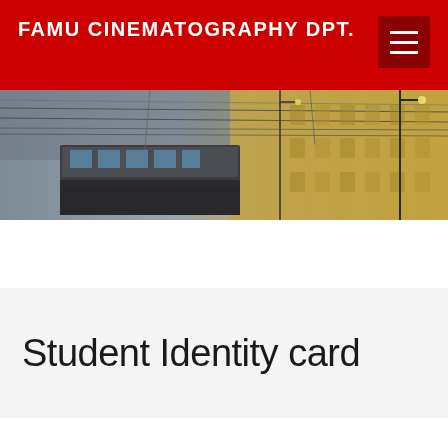FAMU CINEMATOGRAPHY DPT.
[Figure (photo): Street scene photo showing tram wires, a tram, and a golden-lit European building facade under a grey sky.]
Student Identity card